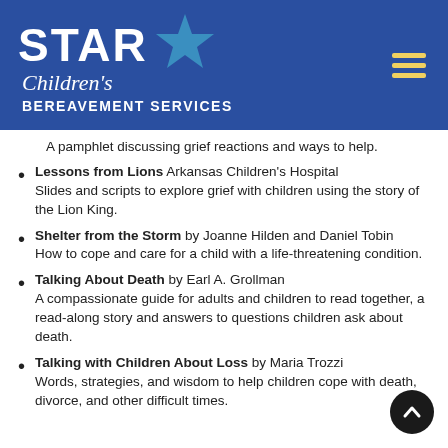STAR Children's BEREAVEMENT SERVICES
A pamphlet discussing grief reactions and ways to help.
Lessons from Lions Arkansas Children's Hospital Slides and scripts to explore grief with children using the story of the Lion King.
Shelter from the Storm by Joanne Hilden and Daniel Tobin How to cope and care for a child with a life-threatening condition.
Talking About Death by Earl A. Grollman A compassionate guide for adults and children to read together, a read-along story and answers to questions children ask about death.
Talking with Children About Loss by Maria Trozzi Words, strategies, and wisdom to help children cope with death, divorce, and other difficult times.